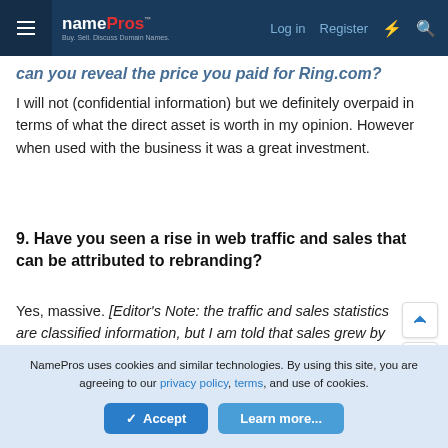namePros - Buy. Sell. Discuss Domain Names. | Log in | Register
can you reveal the price you paid for Ring.com?
I will not (confidential information) but we definitely overpaid in terms of what the direct asset is worth in my opinion. However when used with the business it was a great investment.
9. Have you seen a rise in web traffic and sales that can be attributed to rebranding?
Yes, massive. [Editor's Note: the traffic and sales statistics are classified information, but I am told that sales grew by a "multiple of x" after rebranding to Ring.com]
NamePros uses cookies and similar technologies. By using this site, you are agreeing to our privacy policy, terms, and use of cookies.